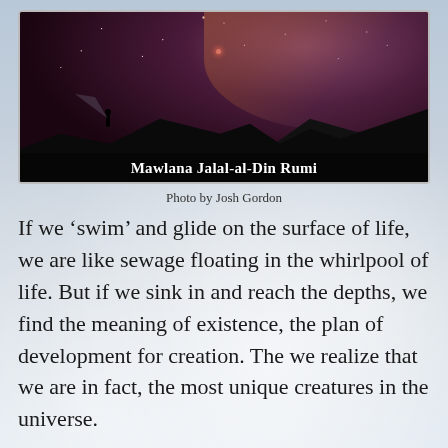[Figure (photo): A person standing on a dark hill shining a flashlight toward a dramatic night sky filled with stars and a reddish-orange Milky Way. The text 'Mawlana Jalal-al-Din Rumi' is overlaid at the bottom of the image.]
Photo by Josh Gordon
If we ‘swim’ and glide on the surface of life, we are like sewage floating in the whirlpool of life. But if we sink in and reach the depths, we find the meaning of existence, the plan of development for creation. The we realize that we are in fact, the most unique creatures in the universe.